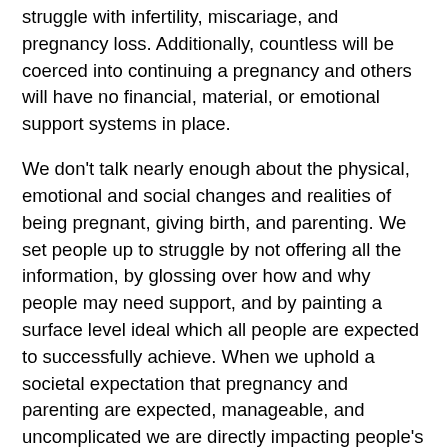struggle with infertility, miscariage, and pregnancy loss. Additionally, countless will be coerced into continuing a pregnancy and others will have no financial, material, or emotional support systems in place.
We don't talk nearly enough about the physical, emotional and social changes and realities of being pregnant, giving birth, and parenting. We set people up to struggle by not offering all the information, by glossing over how and why people may need support, and by painting a surface level ideal which all people are expected to successfully achieve. When we uphold a societal expectation that pregnancy and parenting are expected, manageable, and uncomplicated we are directly impacting people's social, emotional, and mental health and well-being. This romanticized narrative provides such little information about what actually happens to people's bodies when they are pregnant that the various changes and effects can be overwhelming and scary. When someone is struggling (which is